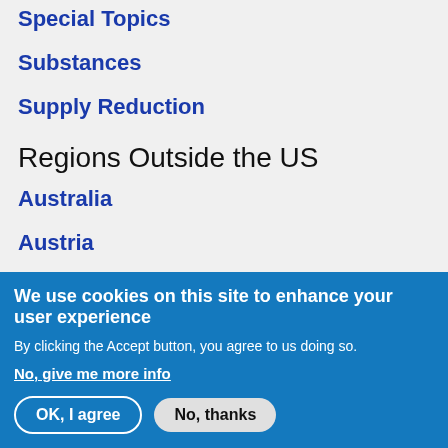Special Topics
Substances
Supply Reduction
Regions Outside the US
Australia
Austria
Belgium
Canada
Colombia (partially visible)
We use cookies on this site to enhance your user experience
By clicking the Accept button, you agree to us doing so.
No, give me more info
OK, I agree   No, thanks